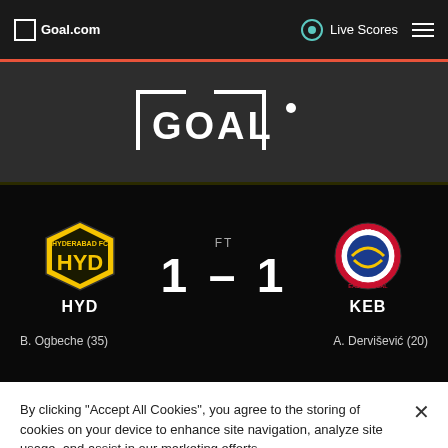Goal.com | Live Scores
[Figure (logo): GOAL logo on dark banner background]
[Figure (infographic): Match result: HYD vs KEB, FT 1-1. Hyderabad FC crest on left, SC East Bengal crest on right. Scorers: B. Ogbeche (35), A. Dervišević (20)]
By clicking "Accept All Cookies", you agree to the storing of cookies on your device to enhance site navigation, analyze site usage, and assist in our marketing efforts.
Cookies Settings | Accept All Cookies